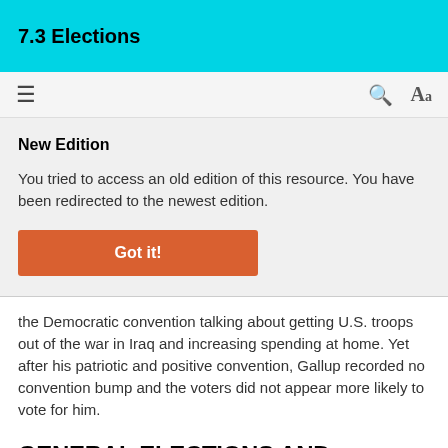7.3 Elections
New Edition
You tried to access an old edition of this resource. You have been redirected to the newest edition.
Got it!
the Democratic convention talking about getting U.S. troops out of the war in Iraq and increasing spending at home. Yet after his patriotic and positive convention, Gallup recorded no convention bump and the voters did not appear more likely to vote for him.
GENERAL ELECTIONS AND ELECTION DAY